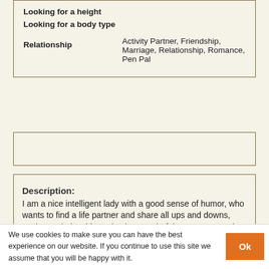| Looking for a height |  |
| Looking for a body type |  |
| Relationship | Activity Partner, Friendship, Marriage, Relationship, Romance, Pen Pal |
Description:
I am a nice intelligent lady with a good sense of humor, who wants to find a life partner and share all ups and downs, work on relationship and enjoy wonderful moments together. With me my man will always be confident in where we stand, where we go as I am a mature personality who knows what is crucial in life.
Ideal match description:
I need a good, reliable and honest man I can trust. I can
We use cookies to make sure you can have the best experience on our website. If you continue to use this site we assume that you will be happy with it.  Ok